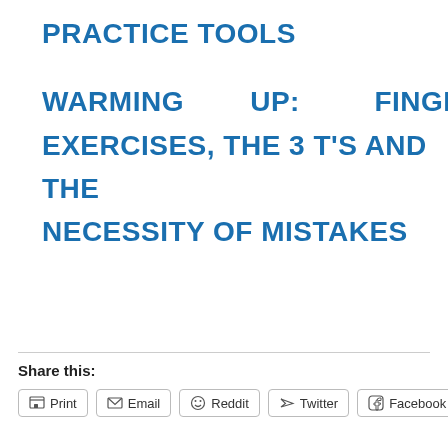PRACTICE TOOLS
WARMING UP: FINGER EXERCISES, THE 3 T'S AND THE NECESSITY OF MISTAKES
Share this:
Print | Email | Reddit | Twitter | Facebook